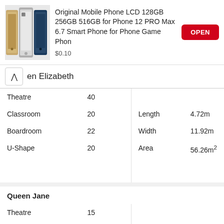[Figure (screenshot): Ad banner for Original Mobile Phone LCD 128GB 256GB 516GB for Phone 12 PRO Max 6.7 Smart Phone for Phone Game Phon, priced at $0.10 with an OPEN button]
en Elizabeth
| Theatre | 40 |  |  |
| Classroom | 20 | Length | 4.72m |
| Boardroom | 22 | Width | 11.92m |
| U-Shape | 20 | Area | 56.26m² |
Queen Jane
| Theatre | 15 |  |  |
| Boardroom | 12 | Length | 4.41m |
| U-Shape | 14 | Width | 6.68m |
|  |  | Area | 29.46m² |
Queen Mary